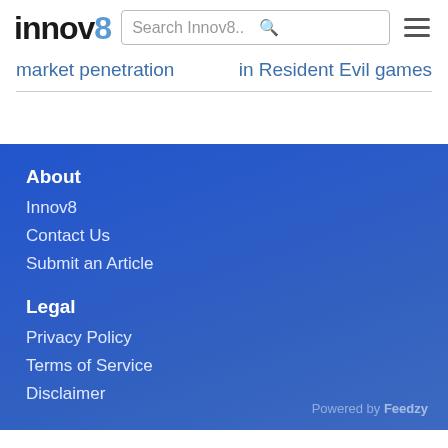innov8 | Search Innov8..
market penetration
in Resident Evil games
About
Innov8
Contact Us
Submit an Article
Legal
Privacy Policy
Terms of Service
Disclaimer
Powered by Feedzy